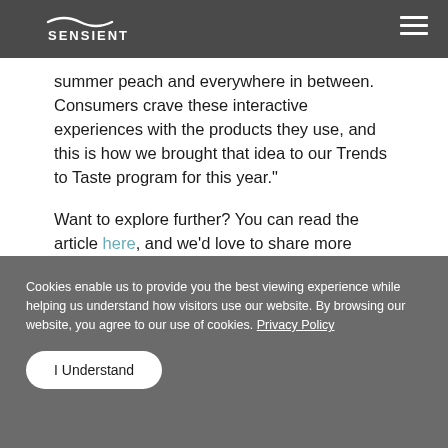SENSIENT
summer peach and everywhere in between. Consumers crave these interactive experiences with the products they use, and this is how we brought that idea to our Trends to Taste program for this year.”
Want to explore further? You can read the article here, and we’d love to share more insights on how to add flavor and variety to your products. Contact us at Sensient Flavors & Extracts to learn more.
Search
Cookies enable us to provide you the best viewing experience while helping us understand how visitors use our website. By browsing our website, you agree to our use of cookies. Privacy Policy
I Understand